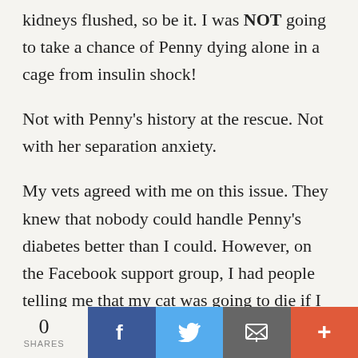kidneys flushed, so be it. I was NOT going to take a chance of Penny dying alone in a cage from insulin shock!
Not with Penny's history at the rescue. Not with her separation anxiety.
My vets agreed with me on this issue. They knew that nobody could handle Penny's diabetes better than I could. However, on the Facebook support group, I had people telling me that my cat was going to die if I didn't admit her.
0 SHARES | Facebook | Twitter | Email | More